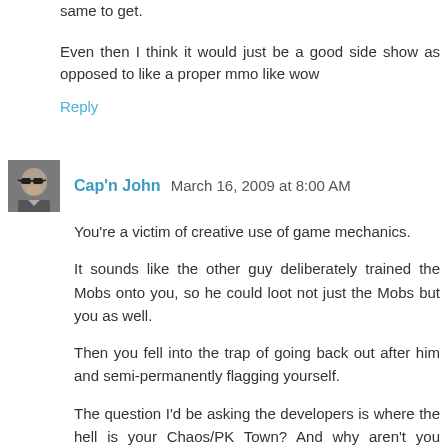same to get.
Even then I think it would just be a good side show as opposed to like a proper mmo like wow
Reply
Cap'n John March 16, 2009 at 8:00 AM
You're a victim of creative use of game mechanics.
It sounds like the other guy deliberately trained the Mobs onto you, so he could loot not just the Mobs but you as well.
Then you fell into the trap of going back out after him and semi-permanently flagging yourself.
The question I'd be asking the developers is where the hell is your Chaos/PK Town? And why aren't you rezzing there after death instead of at some Chaos Stone in the middle of the wilderness where you can be repeatedly killed by